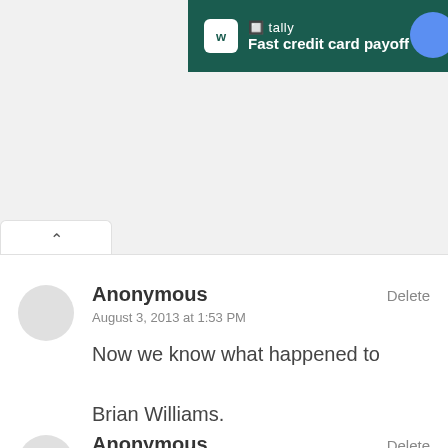[Figure (screenshot): Advertisement banner for Tally app — Fast credit card payoff, dark green background]
Anonymous
August 3, 2013 at 1:53 PM

Now we know what happened to Brian Williams.
Delete
Anonymous
October 10, 2013 at 3:16 PM
Delete